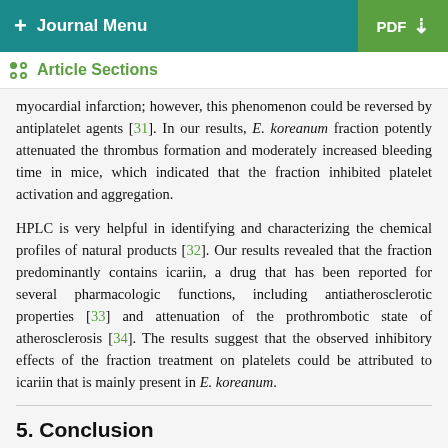+ Journal Menu | PDF
Article Sections
myocardial infarction; however, this phenomenon could be reversed by antiplatelet agents [31]. In our results, E. koreanum fraction potently attenuated the thrombus formation and moderately increased bleeding time in mice, which indicated that the fraction inhibited platelet activation and aggregation.
HPLC is very helpful in identifying and characterizing the chemical profiles of natural products [32]. Our results revealed that the fraction predominantly contains icariin, a drug that has been reported for several pharmacologic functions, including antiatherosclerotic properties [33] and attenuation of the prothrombotic state of atherosclerosis [34]. The results suggest that the observed inhibitory effects of the fraction treatment on platelets could be attributed to icariin that is mainly present in E. koreanum.
5. Conclusion